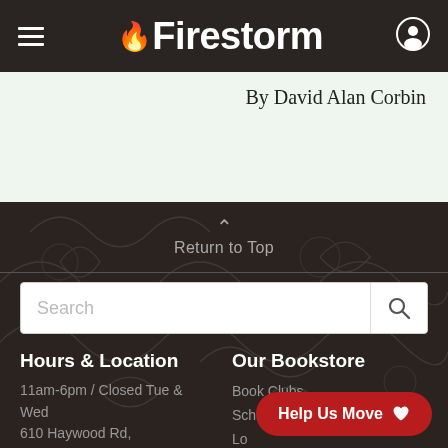Firestorm
By David Alan Corbin
Return to Top
Search
Hours & Location
Our Bookstore
11am-6pm / Closed Tue & Wed
610 Haywood Rd,
Asheville NC
Book Clubs
Sch...
Lo...
Privacy & Security
Help Us Move ♥